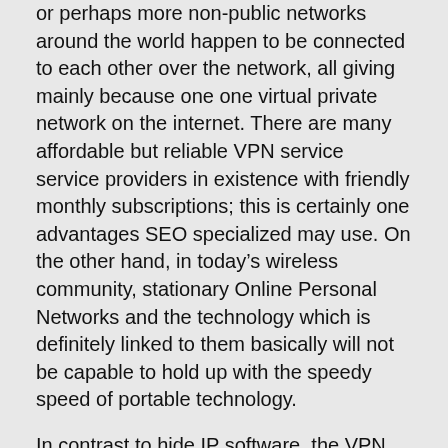or perhaps more non-public networks around the world happen to be connected to each other over the network, all giving mainly because one one virtual private network on the internet. There are many affordable but reliable VPN service service providers in existence with friendly monthly subscriptions; this is certainly one advantages SEO specialized may use. On the other hand, in today's wireless community, stationary Online Personal Networks and the technology which is definitely linked to them basically will not be capable to hold up with the speedy speed of portable technology.
In contrast to hide IP software, the VPN network allows you access the web in total invisiblity. You can also specify some of the tunnel alternatives yourself when you create the VPN connection. When you look for kitties on the search engines for example, your IP address shows to Yahoo web servers where the call for for lizards came by, and wherever it may mail the benefits just for the search to. Quite as you have to publish the home address with an individual sending you a document via the mensaje services, you should also talk about your IP address with all the person or website you would like to receive data from web based. It's essential to bear this in mind next time you will absolutely applying the no cost wifi in your local coffee shop